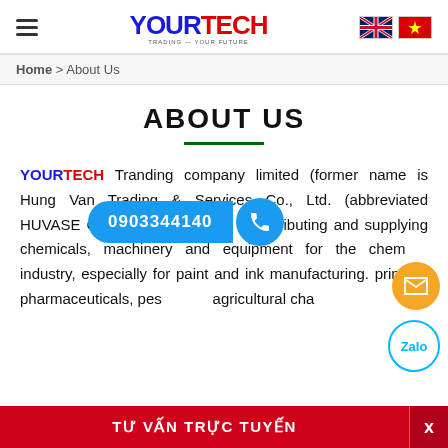YOURTECH — navigation header with language flags
Home > About Us
ABOUT US
YOURTECH Tranding company limited (former name is Hung Van Trading & Services Co., Ltd. (abbreviated HUVASE Co., LTD) specializes in distributing and supplying chemicals, machinery and equipment for the chemical industry, especially for paint and ink manufacturing. printing, pharmaceuticals, pesticides, agricultural che...
[Figure (infographic): Floating phone call bar with number 0903344140 and phone icon]
[Figure (infographic): Floating email icon (orange circle)]
[Figure (infographic): Floating Zalo icon (cyan circle)]
[Figure (infographic): Red chat bar at bottom: TU VAN TRUC TUYEN with X close button]